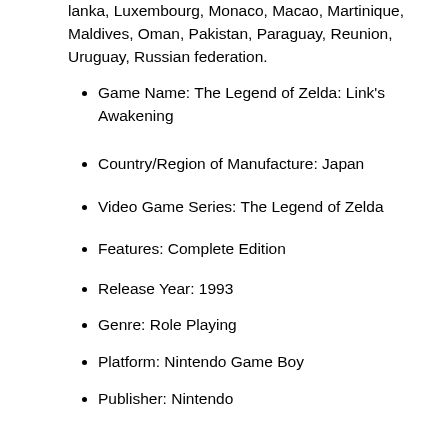lanka, Luxembourg, Monaco, Macao, Martinique, Maldives, Oman, Pakistan, Paraguay, Reunion, Uruguay, Russian federation.
Game Name: The Legend of Zelda: Link's Awakening
Country/Region of Manufacture: Japan
Video Game Series: The Legend of Zelda
Features: Complete Edition
Release Year: 1993
Genre: Role Playing
Platform: Nintendo Game Boy
Publisher: Nintendo
Rating: E-Everyone
Region Code: NTSC-U/C (US/Canada)
MPN: DMG-ZL
More info...   Price...